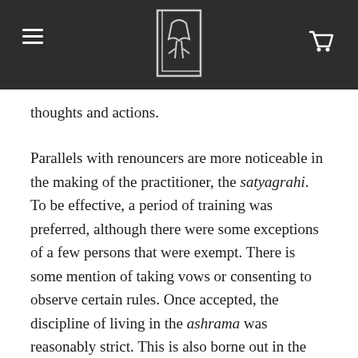[Figure (logo): Website header bar with hamburger menu icon on left, stylized book/figure logo in center, and shopping cart icon on right, all on dark background]
thoughts and actions.
Parallels with renouncers are more noticeable in the making of the practitioner, the satyagrahi. To be effective, a period of training was preferred, although there were some exceptions of a few persons that were exempt. There is some mention of taking vows or consenting to observe certain rules. Once accepted, the discipline of living in the ashrama was reasonably strict. This is also borne out in the memoirs of one